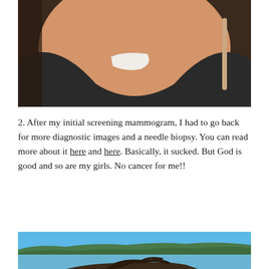[Figure (photo): Close-up photo of a person's upper chest/collar area wearing a black shirt, with a white medical bandage/dressing visible near the collarbone area.]
2. After my initial screening mammogram, I had to go back for more diagnostic images and a needle biopsy. You can read more about it here and here. Basically, it sucked. But God is good and so are my girls. No cancer for me!!
[Figure (photo): Outdoor scenic photo of a body of water (bay or sound) with a forested hillside in the background under a clear blue sky, and driftwood branches in the foreground.]